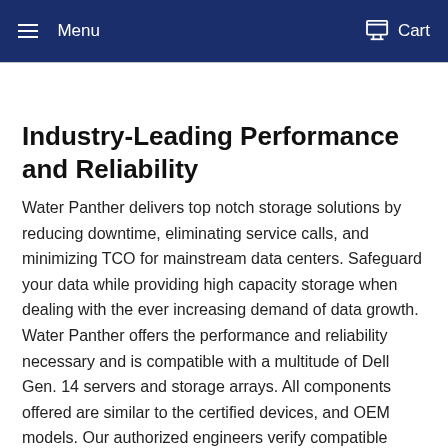Menu  Cart
Industry-Leading Performance and Reliability
Water Panther delivers top notch storage solutions by reducing downtime, eliminating service calls, and minimizing TCO for mainstream data centers. Safeguard your data while providing high capacity storage when dealing with the ever increasing demand of data growth. Water Panther offers the performance and reliability necessary and is compatible with a multitude of Dell Gen. 14 servers and storage arrays. All components offered are similar to the certified devices, and OEM models. Our authorized engineers verify compatible options and if the specs are on par to replacement parts or in-production drives.
Innovating for Higher Quality and Service